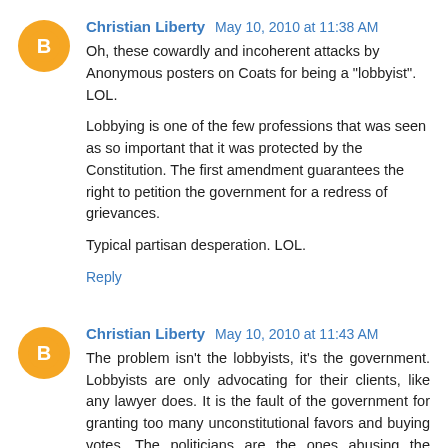Christian Liberty May 10, 2010 at 11:38 AM
Oh, these cowardly and incoherent attacks by Anonymous posters on Coats for being a "lobbyist". LOL.

Lobbying is one of the few professions that was seen as so important that it was protected by the Constitution. The first amendment guarantees the right to petition the government for a redress of grievances.

Typical partisan desperation. LOL.
Reply
Christian Liberty May 10, 2010 at 11:43 AM
The problem isn't the lobbyists, it's the government. Lobbyists are only advocating for their clients, like any lawyer does. It is the fault of the government for granting too many unconstitutional favors and buying votes. The politicians are the ones abusing the public's trust, not the